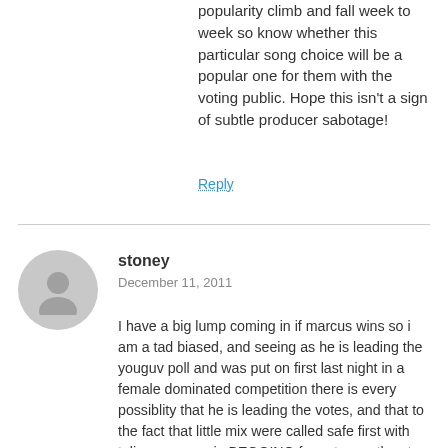popularity climb and fall week to week so know whether this particular song choice will be a popular one for them with the voting public. Hope this isn't a sign of subtle producer sabotage!
Reply
stoney
December 11, 2011
I have a big lump coming in if marcus wins so i am a tad biased, and seeing as he is leading the youguv poll and was put on first last night in a female dominated competition there is every possiblity that he is leading the votes, and that to the fact that little mix were called safe first with tulisa once again BEGGING for votes on the xtra factor and this is not as cut and dry as the bookies would lead us to believe. I mean who the hell is punting on little mix to win at 1/3, thats absurd, i am sure the producers are favoring the little mix win but its still going to go down the the very last song performance in my opinion. Now judging by last nights performance i have to say that if you take away the big stage show then marcus gave the worst performance with hey ya, this was almost as bad a song choice as can you feel it in the semi final, talk about trying to throw away your